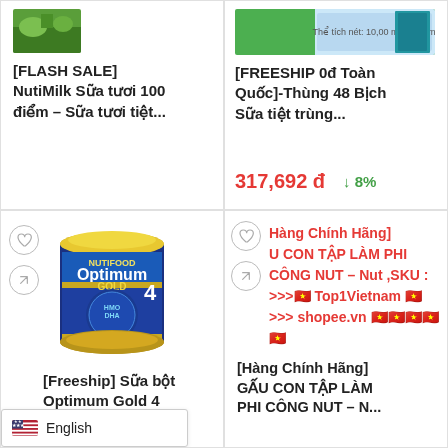[Figure (photo): Product thumbnail - green landscape/nature image for NutiMilk]
[FLASH SALE] NutiMilk Sữa tươi 100 điểm – Sữa tươi tiệt...
[Figure (photo): Product thumbnail - green and blue packaging image for milk box]
[FREESHIP 0đ Toàn Quốc]-Thùng 48 Bịch Sữa tiệt trùng...
317,692 đ  ↓8%
[Figure (photo): Optimum Gold 4 milk powder tin can - blue and gold colored can with HMO DHA label]
[Freeship] Sữa bột Optimum Gold 4 1450g (cho trẻ từ 2
[Hàng Chính Hãng] GẤU CON TẬP LÀM PHI CÔNG NUT – Nut ,SKU : >>>🇻🇳 Top1Vietnam 🇻🇳 >>> shopee.vn 🇻🇳🇻🇳🇻🇳🇻🇳🇻🇳
[Hàng Chính Hãng] GẤU CON TẬP LÀM PHI CÔNG NUT – N...
English